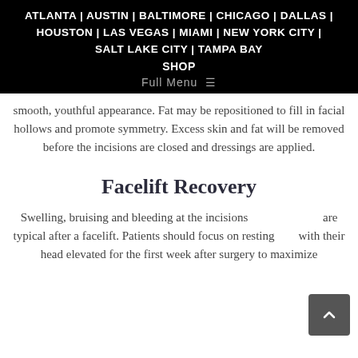ATLANTA | AUSTIN | BALTIMORE | CHICAGO | DALLAS | HOUSTON | LAS VEGAS | MIAMI | NEW YORK CITY | SALT LAKE CITY | TAMPA BAY SHOP Full Menu
smooth, youthful appearance. Fat may be repositioned to fill in facial hollows and promote symmetry. Excess skin and fat will be removed before the incisions are closed and dressings are applied.
Facelift Recovery
Swelling, bruising and bleeding at the incisions are typical after a facelift. Patients should focus on resting with their head elevated for the first week after surgery to maximize